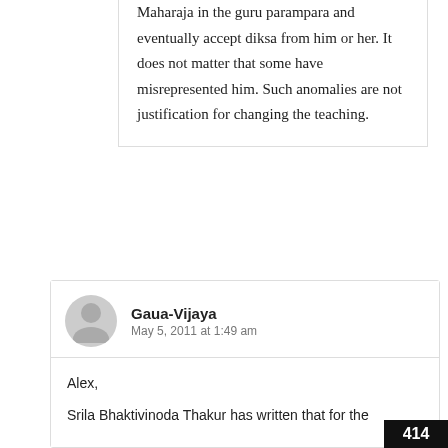Maharaja in the guru parampara and eventually accept diksa from him or her. It does not matter that some have misrepresented him. Such anomalies are not justification for changing the teaching.
Gaua-Vijaya
May 5, 2011 at 1:49 am
Alex,
Srila Bhaktivinoda Thakur has written that for the
414